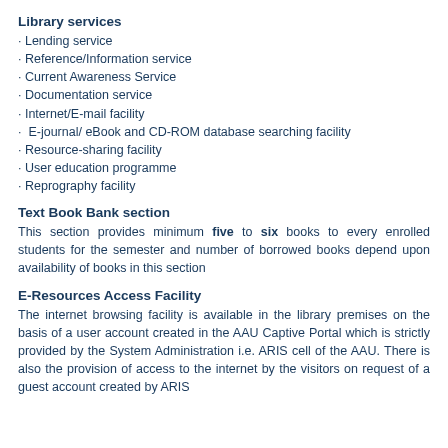Library services
· Lending service
· Reference/Information service
· Current Awareness Service
· Documentation service
· Internet/E-mail facility
· E-journal/ eBook and CD-ROM database searching facility
· Resource-sharing facility
· User education programme
· Reprography facility
Text Book Bank section
This section provides minimum five to six books to every enrolled students for the semester and number of borrowed books depend upon availability of books in this section
E-Resources Access Facility
The internet browsing facility is available in the library premises on the basis of a user account created in the AAU Captive Portal which is strictly provided by the System Administration i.e. ARIS cell of the AAU. There is also the provision of access to the internet by the visitors on request of a guest account created by ARIS